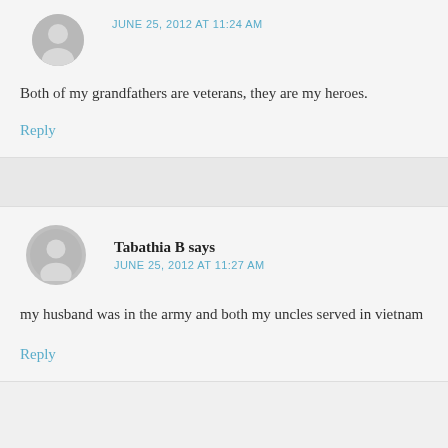JUNE 25, 2012 AT 11:24 AM
Both of my grandfathers are veterans, they are my heroes.
Reply
Tabathia B says
JUNE 25, 2012 AT 11:27 AM
my husband was in the army and both my uncles served in vietnam
Reply